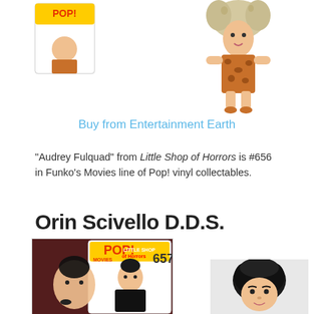[Figure (photo): Funko Pop figure of Audrey Fulquad in leopard print outfit, partially cropped at top right]
[Figure (photo): Small Funko Pop box partially visible at top left]
Buy from Entertainment Earth
“Audrey Fulquad” from Little Shop of Horrors is #656 in Funko’s Movies line of Pop! vinyl collectables.
Orin Scivello D.D.S.
[Figure (photo): Funko Pop #657 Little Shop of Horrors Orin Scivello D.D.S. in box, partially shown]
[Figure (photo): Funko Pop figure of Orin Scivello D.D.S. without box, showing head with dark hair]